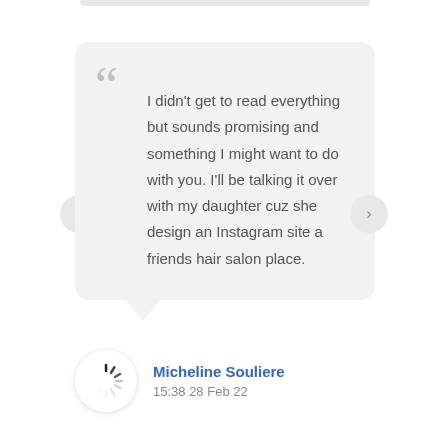I didn't get to read everything but sounds promising and something I might want to do with you. I'll be talking it over with my daughter cuz she design an Instagram site a friends hair salon place.
Micheline Souliere
15:38 28 Feb 22